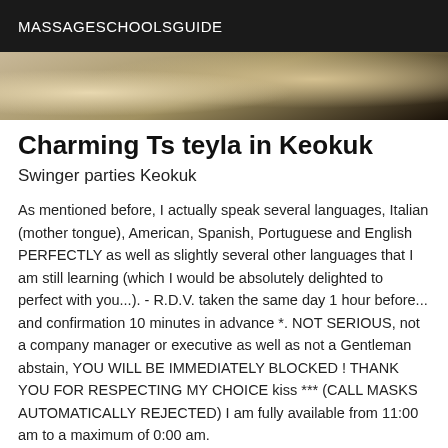MASSAGESCHOOLSGUIDE
[Figure (photo): Partial photo of a room with wooden floor, showing feet/legs, dark background at edges]
Charming Ts teyla in Keokuk
Swinger parties Keokuk
As mentioned before, I actually speak several languages, Italian (mother tongue), American, Spanish, Portuguese and English PERFECTLY as well as slightly several other languages that I am still learning (which I would be absolutely delighted to perfect with you...). - R.D.V. taken the same day 1 hour before... and confirmation 10 minutes in advance *. NOT SERIOUS, not a company manager or executive as well as not a Gentleman abstain, YOU WILL BE IMMEDIATELY BLOCKED ! THANK YOU FOR RESPECTING MY CHOICE kiss *** (CALL MASKS AUTOMATICALLY REJECTED) I am fully available from 11:00 am to a maximum of 0:00 am.